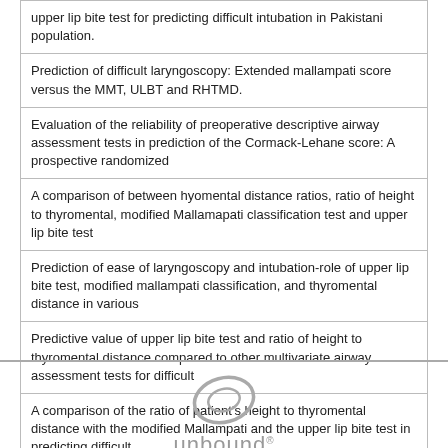| upper lip bite test for predicting difficult intubation in Pakistani population. |
| Prediction of difficult laryngoscopy: Extended mallampati score versus the MMT, ULBT and RHTMD. |
| Evaluation of the reliability of preoperative descriptive airway assessment tests in prediction of the Cormack-Lehane score: A prospective randomized |
| A comparison of between hyomental distance ratios, ratio of height to thyromental, modified Mallamapati classification test and upper lip bite test |
| Prediction of ease of laryngoscopy and intubation-role of upper lip bite test, modified mallampati classification, and thyromental distance in various |
| Predictive value of upper lip bite test and ratio of height to thyromental distance compared to other multivariate airway assessment tests for difficult |
| A comparison of the ratio of patient's height to thyromental distance with the modified Mallampati and the upper lip bite test in predicting difficult |
| More |
[Figure (logo): Unbound Medicine logo — stylized italic oval shape above the text 'unbound' with registered trademark and 'MEDICINE' below]